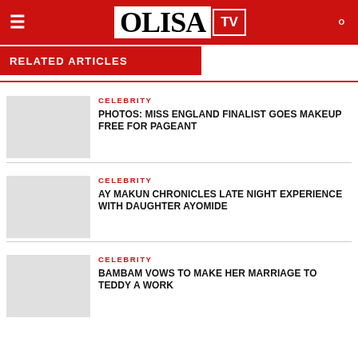OLISA TV
RELATED ARTICLES
CELEBRITY
PHOTOS: MISS ENGLAND FINALIST GOES MAKEUP FREE FOR PAGEANT
CELEBRITY
AY MAKUN CHRONICLES LATE NIGHT EXPERIENCE WITH DAUGHTER AYOMIDE
CELEBRITY
BAMBAM VOWS TO MAKE HER MARRIAGE TO TEDDY A WORK